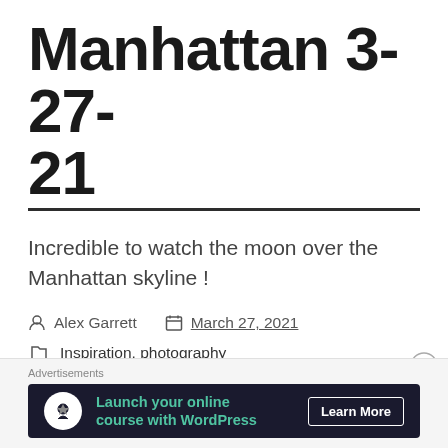Manhattan 3-27-21
Incredible to watch the moon over the Manhattan skyline !
Alex Garrett   March 27, 2021
Inspiration, photography
manhattan, moon, newyorkcity, nyc, nyc photography, photo, photograph, photography, photojournalism, photojournalist, sky
Advertisements
[Figure (other): Advertisement banner: Launch your online course with WordPress - Learn More button, dark background with teal text and white icon circle]